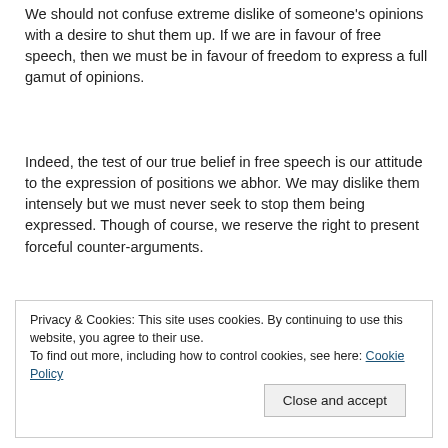We should not confuse extreme dislike of someone's opinions with a desire to shut them up. If we are in favour of free speech, then we must be in favour of freedom to express a full gamut of opinions.
Indeed, the test of our true belief in free speech is our attitude to the expression of positions we abhor. We may dislike them intensely but we must never seek to stop them being expressed. Though of course, we reserve the right to present forceful counter-arguments.
Privacy & Cookies: This site uses cookies. By continuing to use this website, you agree to their use. To find out more, including how to control cookies, see here: Cookie Policy
Close and accept